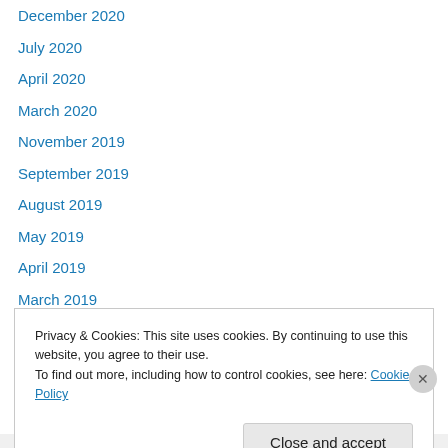December 2020
July 2020
April 2020
March 2020
November 2019
September 2019
August 2019
May 2019
April 2019
March 2019
December 2018
September 2018
August 2018
Privacy & Cookies: This site uses cookies. By continuing to use this website, you agree to their use. To find out more, including how to control cookies, see here: Cookie Policy
Close and accept